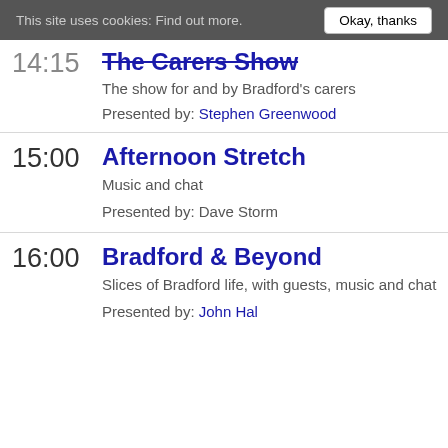This site uses cookies: Find out more. | Okay, thanks
The Carers Show
The show for and by Bradford's carers
Presented by: Stephen Greenwood
Afternoon Stretch
Music and chat
Presented by: Dave Storm
Bradford & Beyond
Slices of Bradford life, with guests, music and chat
Presented by: John Hal...